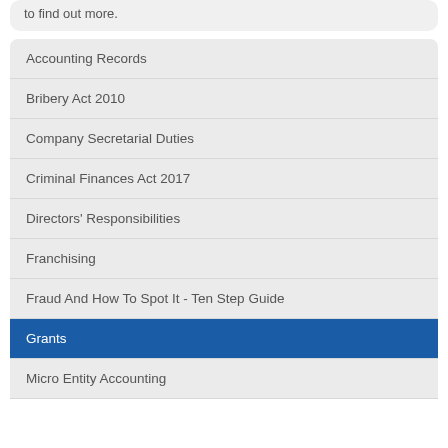to find out more.
Accounting Records
Bribery Act 2010
Company Secretarial Duties
Criminal Finances Act 2017
Directors' Responsibilities
Franchising
Fraud And How To Spot It - Ten Step Guide
Grants
Micro Entity Accounting